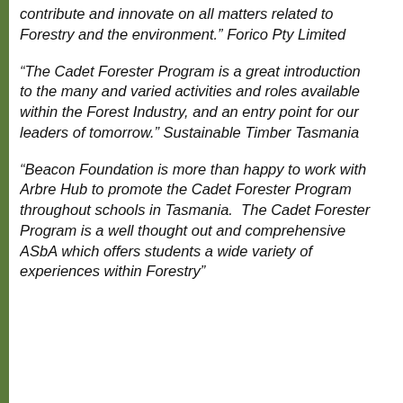contribute and innovate on all matters related to Forestry and the environment.” Forico Pty Limited
“The Cadet Forester Program is a great introduction to the many and varied activities and roles available within the Forest Industry, and an entry point for our leaders of tomorrow.” Sustainable Timber Tasmania
“Beacon Foundation is more than happy to work with Arbre Hub to promote the Cadet Forester Program throughout schools in Tasmania.  The Cadet Forester Program is a well thought out and comprehensive ASbA which offers students a wide variety of experiences within Forestry”